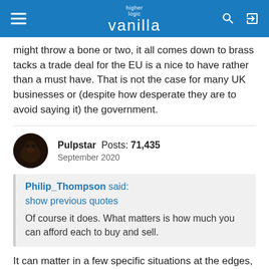higher logic vanilla
might throw a bone or two, it all comes down to brass tacks a trade deal for the EU is a nice to have rather than a must have. That is not the case for many UK businesses or (despite how desperate they are to avoid saying it) the government.
Pulpstar Posts: 71,435 September 2020
Philip_Thompson said: show previous quotes Of course it does. What matters is how much you can afford each to buy and sell.
It can matter in a few specific situations at the edges, but it's not nearly as important as absolute size in a